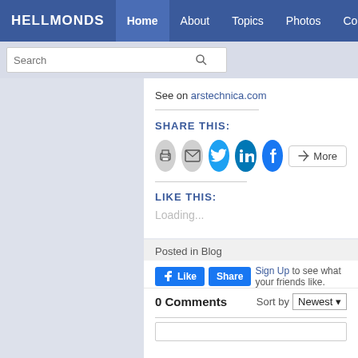HELLMONDS  Home  About  Topics  Photos  Contact
See on arstechnica.com
SHARE THIS:
[Figure (infographic): Social share buttons: print, email, Twitter, LinkedIn, Facebook, More]
LIKE THIS:
Loading...
Posted in Blog
Like  Share  Sign Up to see what your friends like.
0 Comments   Sort by Newest